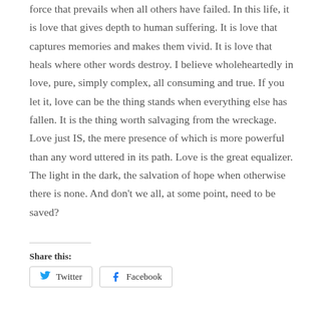force that prevails when all others have failed. In this life, it is love that gives depth to human suffering. It is love that captures memories and makes them vivid. It is love that heals where other words destroy. I believe wholeheartedly in love, pure, simply complex, all consuming and true. If you let it, love can be the thing stands when everything else has fallen. It is the thing worth salvaging from the wreckage. Love just IS, the mere presence of which is more powerful than any word uttered in its path. Love is the great equalizer. The light in the dark, the salvation of hope when otherwise there is none. And don't we all, at some point, need to be saved?
Share this:
Twitter
Facebook